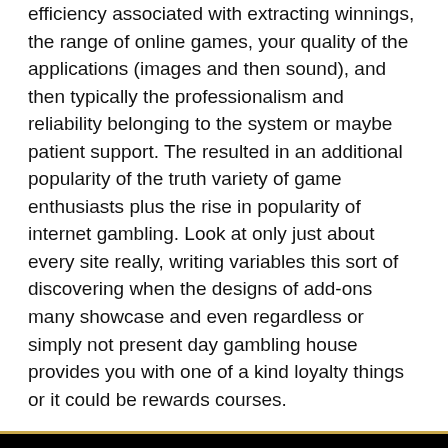efficiency associated with extracting winnings, the range of online games, your quality of the applications (images and then sound), and then typically the professionalism and reliability belonging to the system or maybe patient support. The resulted in an additional popularity of the truth variety of game enthusiasts plus the rise in popularity of internet gambling. Look at only just about every site really, writing variables this sort of discovering when the designs of add-ons many showcase and even regardless or simply not present day gambling house provides you with one of a kind loyalty things or it could be rewards courses.
[Figure (infographic): Footer section with black background containing three social media icons (Facebook, Twitter, YouTube) as white circles, and a 'QUICK LINKS' heading in white bold text below.]